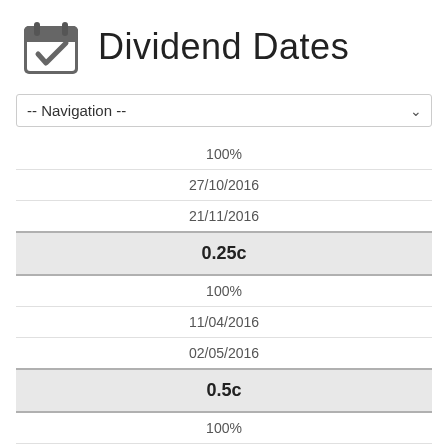Dividend Dates
| 100% |
| 27/10/2016 |
| 21/11/2016 |
| 0.25c |
| 100% |
| 11/04/2016 |
| 02/05/2016 |
| 0.5c |
| 100% |
| 28/10/2015 |